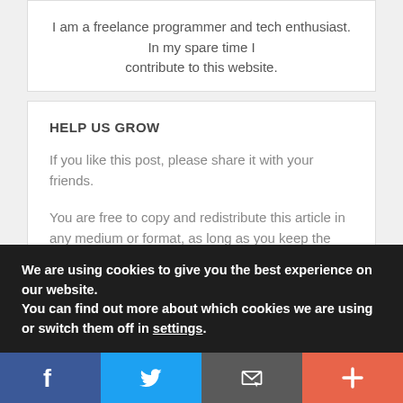I am a freelance programmer and tech enthusiast. In my spare time I contribute to this website.
HELP US GROW
If you like this post, please share it with your friends.
You are free to copy and redistribute this article in any medium or format, as long as you keep the links in the articles or provide a link back to this page.
We are using cookies to give you the best experience on our website.
You can find out more about which cookies we are using or switch them off in settings.